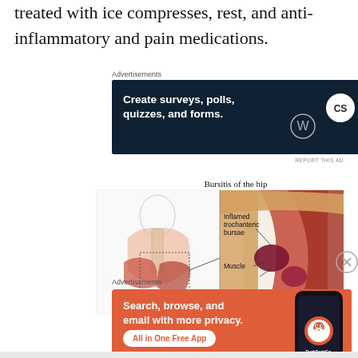treated with ice compresses, rest, and anti-inflammatory and pain medications.
[Figure (infographic): WordPress advertisement banner: Create surveys, polls, quizzes, and forms.]
[Figure (illustration): Medical illustration of Bursitis of the hip showing inflamed trochanteric bursae, muscle, and anatomical cross-section with labels.]
[Figure (infographic): DuckDuckGo advertisement: Search, browse, and email with more privacy. All in One Free App.]